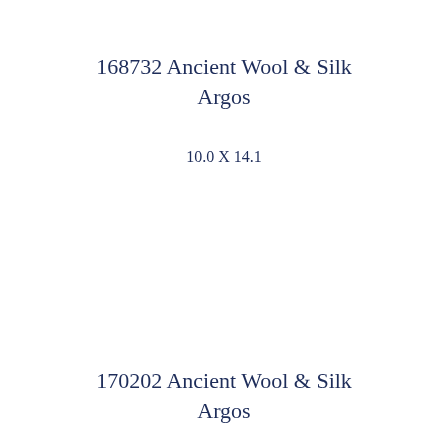168732 Ancient Wool & Silk Argos
10.0 X 14.1
170202 Ancient Wool & Silk Argos